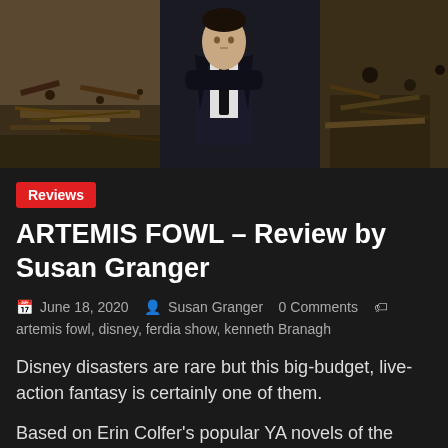[Figure (photo): A young man in a dark suit and black tie stands in a destroyed/debris-filled room, looking directly at the camera. The background shows rubble, broken wood, and scattered objects on the floor.]
Reviews
ARTEMIS FOWL – Review by Susan Granger
June 18, 2020  Susan Granger  0 Comments  artemis fowl, disney, ferdia show, kenneth Branagh
Disney disasters are rare but this big-budget, live-action fantasy is certainly one of them.
Based on Erin Colfer's popular YA novels of the same name, it's been ineptly adapted by Irish playwright Conor McPherson and Hamish McColl